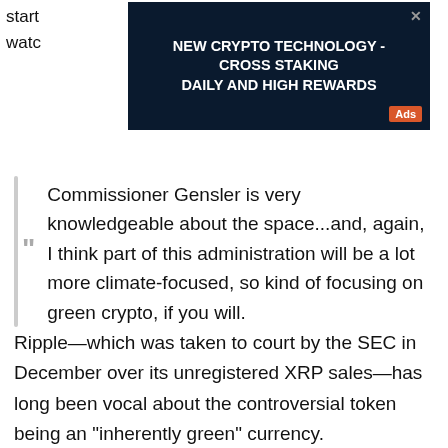start  s
watc
[Figure (screenshot): Advertisement banner with dark blue background. Text reads: NEW CRYPTO TECHNOLOGY - CROSS STAKING DAILY AND HIGH REWARDS. An 'Ads' label in orange appears bottom-right. An X close button appears top-right.]
Commissioner Gensler is very knowledgeable about the space...and, again, I think part of this administration will be a lot more climate-focused, so kind of focusing on green crypto, if you will.
Ripple—which was taken to court by the SEC in December over its unregistered XRP sales—has long been vocal about the controversial token being an "inherently green" currency.
CEO Brad Garlinghouse mentioned that XRP is